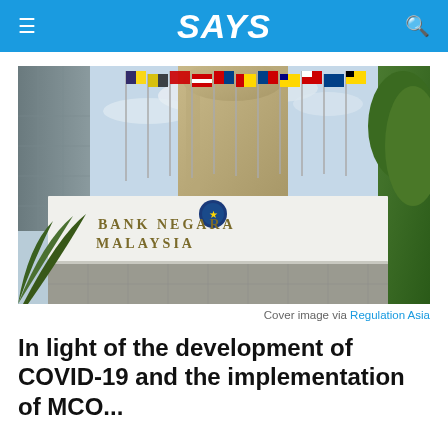SAYS
[Figure (photo): Exterior photo of Bank Negara Malaysia building showing the sign with the institution name and logo, multiple flags in the background, and surrounding greenery]
Cover image via Regulation Asia
In light of the development of COVID-19 and the implementation of MCO...